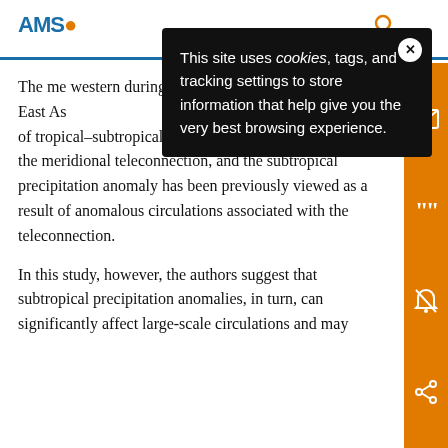AMS
The me western during s East As A well-known seesaw pattern of tropical–subtropical precipitation is associated with the meridional teleconnection, and the subtropical precipitation anomaly has been previously viewed as a result of anomalous circulations associated with the teleconnection.
In this study, however, the authors suggest that subtropical precipitation anomalies, in turn, can significantly affect large-scale circulations and may
This site uses cookies, tags, and tracking settings to store information that help give you the very best browsing experience.